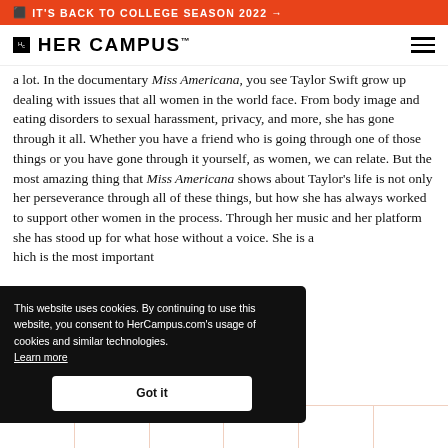IT'S BACK TO COLLEGE SEASON 2022 →
[Figure (logo): Her Campus logo with HC box and wordmark]
a lot. In the documentary Miss Americana, you see Taylor Swift grow up dealing with issues that all women in the world face. From body image and eating disorders to sexual harassment, privacy, and more, she has gone through it all. Whether you have a friend who is going through one of those things or you have gone through it yourself, as women, we can relate. But the most amazing thing that Miss Americana shows about Taylor's life is not only her perseverance through all of these things, but how she has always worked to support other women in the process. Through her music and her platform she has stood up for what [those without a voice. She is a [which is the most important
This website uses cookies. By continuing to use this website, you consent to HerCampus.com's usage of cookies and similar technologies. Learn more
IC PREMIERE